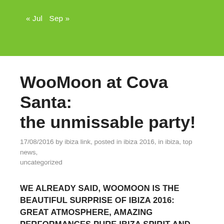« Jul   Sep »
WooMoon at Cova Santa: the unmissable party!
17/08/2016 by ibiza link, posted in ibiza 2016, in ibiza, top news, uncategorized
WE ALREADY SAID, WOOMOON IS THE BEAUTIFUL SURPRISE OF IBIZA 2016: GREAT ATMOSPHERE, AMAZING PERFORMANCES,PURE IBIZA SPIRIT AND EXCELLENT ELECTRONIC MUSIC.
THIS IS A PARTY THAT REALLY MAKES THE